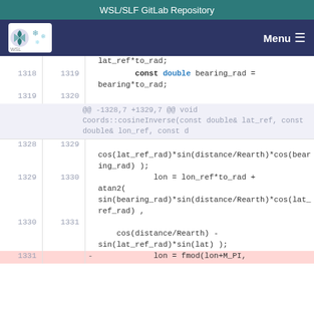WSL/SLF GitLab Repository
[Figure (screenshot): WSL/SLF logo in navigation bar with Menu button]
lat_ref*to_rad;
        const double bearing_rad =
        bearing*to_rad;

@@ -1328,7 +1329,7 @@ void Coords::cosineInverse(const double& lat_ref, const double& lon_ref, const d

cos(lat_ref_rad)*sin(distance/Rearth)*cos(bearing_rad) );
        lon = lon_ref*to_rad +
        atan2(
        sin(bearing_rad)*sin(distance/Rearth)*cos(lat_ref_rad) ,

        cos(distance/Rearth) -
        sin(lat_ref_rad)*sin(lat) );
-        lon = fmod(lon+M_PI,